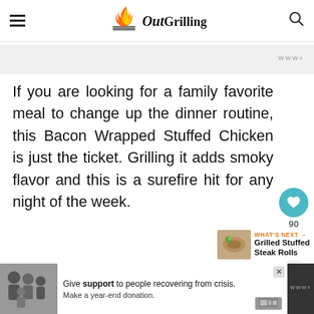Out Grilling
If you are looking for a family favorite meal to change up the dinner routine, this Bacon Wrapped Stuffed Chicken is just the ticket. Grilling it adds smoky flavor and this is a surefire hit for any night of the week.
[Figure (other): What's Next navigation widget showing Grilled Stuffed Steak Rolls with thumbnail image]
[Figure (other): Advertisement banner: Give support to people recovering from crisis. Make a year-end donation.]